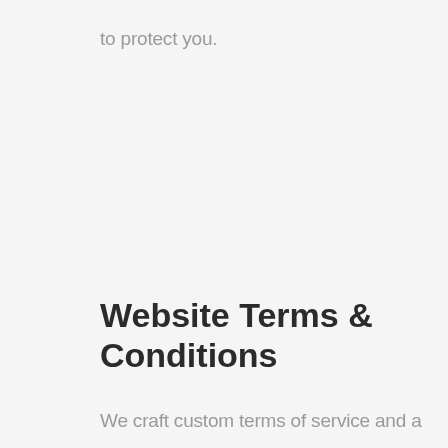to protect you.
Website Terms & Conditions
We craft custom terms of service and a